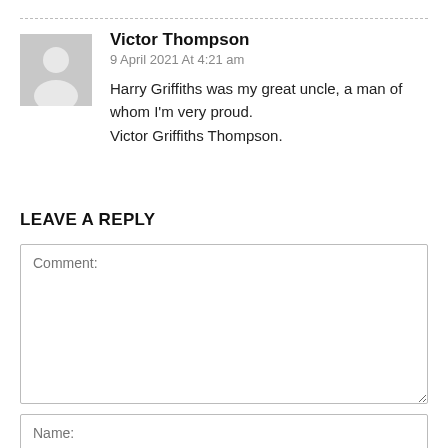[Figure (illustration): Generic user avatar placeholder - grey square with white silhouette of a person]
Victor Thompson
9 April 2021 At 4:21 am
Harry Griffiths was my great uncle, a man of whom I'm very proud.
Victor Griffiths Thompson.
LEAVE A REPLY
Comment:
Name: